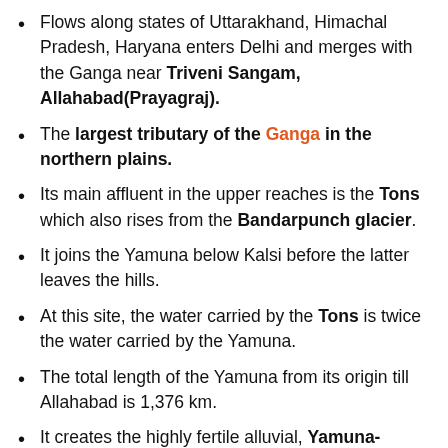Flows along states of Uttarakhand, Himachal Pradesh, Haryana enters Delhi and merges with the Ganga near Triveni Sangam, Allahabad(Prayagraj).
The largest tributary of the Ganga in the northern plains.
Its main affluent in the upper reaches is the Tons which also rises from the Bandarpunch glacier.
It joins the Yamuna below Kalsi before the latter leaves the hills.
At this site, the water carried by the Tons is twice the water carried by the Yamuna.
The total length of the Yamuna from its origin till Allahabad is 1,376 km.
It creates the highly fertile alluvial, Yamuna-Ganges Doab region between itself and the Ganga, in the larger Ganga watershed.